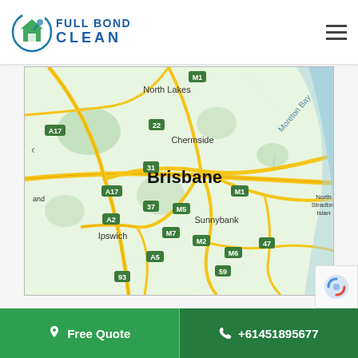[Figure (logo): Full Bond Clean logo with house/cleaning icon and blue text]
[Figure (map): Google Maps screenshot showing Brisbane region including North Lakes, Chermside, Sunnybank, Ipswich and surrounding areas with motorway labels M1, M2, M5, M7, A17, A2, A5, 22, 31, 37, 47, 59, 93]
Free Quote
+61451895677